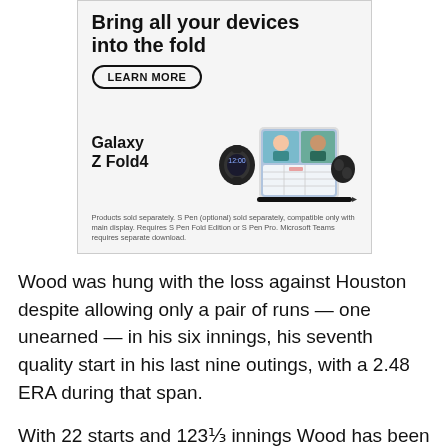[Figure (advertisement): Samsung Galaxy Z Fold4 advertisement with 'Bring all your devices into the fold' headline, LEARN MORE button, product image showing the foldable phone, Galaxy Watch, earbuds, and S Pen, with Galaxy Z Fold4 product name and disclaimer text.]
Wood was hung with the loss against Houston despite allowing only a pair of runs — one unearned — in his six innings, his seventh quality start in his last nine outings, with a 2.48 ERA during that span.
With 22 starts and 123⅓ innings Wood has been the relative workhorse in the Dodgers rotation, the only starting pitcher on the staff to not see time on the disabled list before now. On a team that prioritizes rest